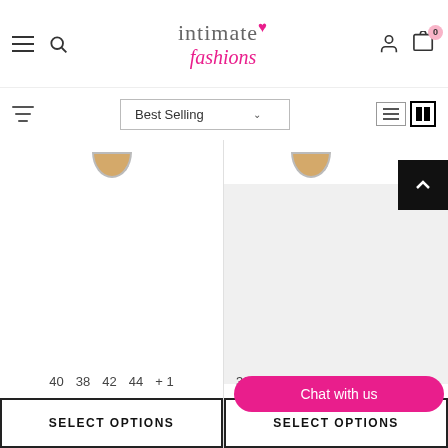[Figure (screenshot): Intimate Fashions e-commerce website header with logo, hamburger menu, search icon, user icon, and cart icon showing 0 items]
[Figure (screenshot): Filter bar with filter icon on left, Best Selling sort dropdown in center, and grid/list view icons on right]
[Figure (screenshot): Two product columns showing bra products with nude/skin-tone color swatches, product images, size options (40, 38, 42, 44, +1 and 32), SELECT OPTIONS buttons, and a pink Chat with us bubble overlay]